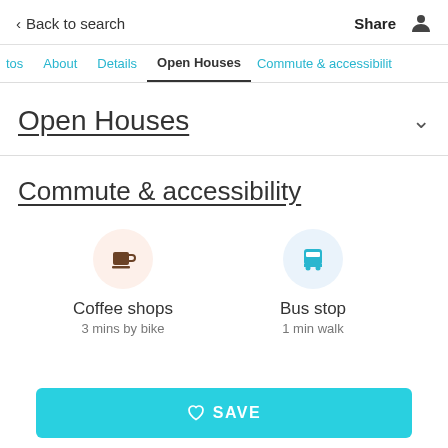< Back to search   Share
tos   About   Details   Open Houses   Commute & accessibility
Open Houses
Commute & accessibility
Coffee shops
3 mins by bike
Bus stop
1 min walk
SAVE